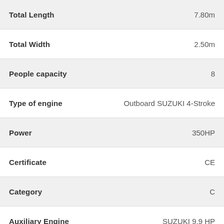| Specification | Value |
| --- | --- |
| Total Length | 7.80m |
| Total Width | 2.50m |
| People capacity | 8 |
| Type of engine | Outboard SUZUKI 4-Stroke |
| Power | 350HP |
| Certificate | CE |
| Category | C |
| Auxiliary Engine | SUZUKI 9,9 HP |
Equipment
Central console with steering system
Awning for sun protection
Storage spaces